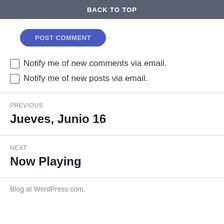BACK TO TOP
POST COMMENT
Notify me of new comments via email.
Notify me of new posts via email.
PREVIOUS
Jueves, Junio 16
NEXT
Now Playing
Blog at WordPress.com.